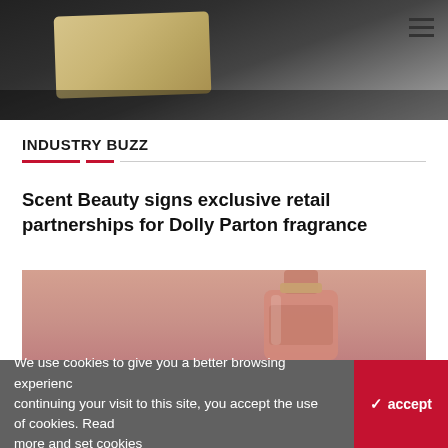[Figure (photo): Top banner photo of a gold/tan rectangular object (possibly a compact or card) on a dark reflective surface, with a hamburger menu icon in the top right corner]
INDUSTRY BUZZ
Scent Beauty signs exclusive retail partnerships for Dolly Parton fragrance
[Figure (photo): Photo of a Dolly Parton fragrance bottle with a butterfly-shaped crystal stopper on a pink background]
We use cookies to give you a better browsing experience. By continuing your visit to this site, you accept the use of cookies. Read more and set cookies